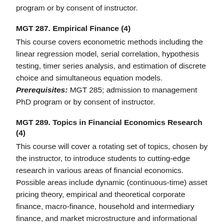program or by consent of instructor.
MGT 287. Empirical Finance (4)
This course covers econometric methods including the linear regression model, serial correlation, hypothesis testing, timer series analysis, and estimation of discrete choice and simultaneous equation models. Prerequisites: MGT 285; admission to management PhD program or by consent of instructor.
MGT 289. Topics in Financial Economics Research (4)
This course will cover a rotating set of topics, chosen by the instructor, to introduce students to cutting-edge research in various areas of financial economics. Possible areas include dynamic (continuous-time) asset pricing theory, empirical and theoretical corporate finance, macro-finance, household and intermediary finance, and market microstructure and informational economics.